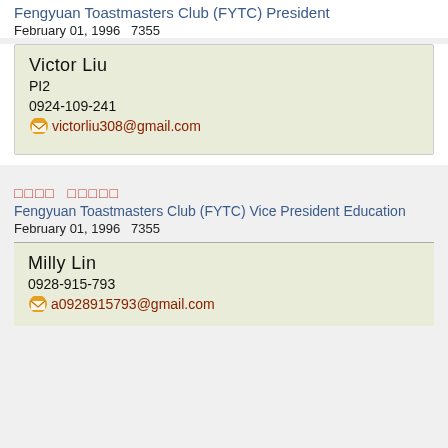Fengyuan Toastmasters Club (FYTC) President
February 01, 1996   7355
Victor Liu
PI2
0924-109-241
victorliu308@gmail.com
□□□□  □□□□□
Fengyuan Toastmasters Club (FYTC) Vice President Education
February 01, 1996   7355
Milly Lin
0928-915-793
a0928915793@gmail.com